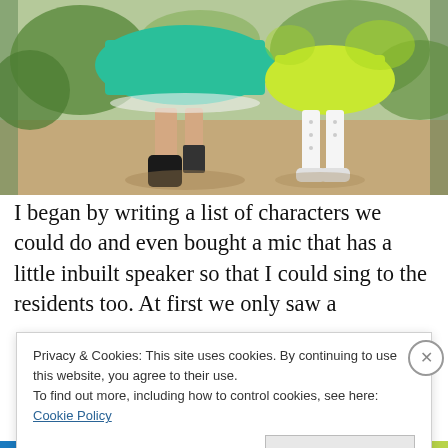[Figure (photo): Photo showing lower half of two people in costumes on a path outdoors. One wearing a teal/green skirt and tall black boots with a prosthetic leg visible, the other wearing a yellow-green fairy costume with patterned white tights and white shoes.]
I began by writing a list of characters we could do and even bought a mic that has a little inbuilt speaker so that I could sing to the residents too. At first we only saw a
Privacy & Cookies: This site uses cookies. By continuing to use this website, you agree to their use.
To find out more, including how to control cookies, see here: Cookie Policy
Close and accept